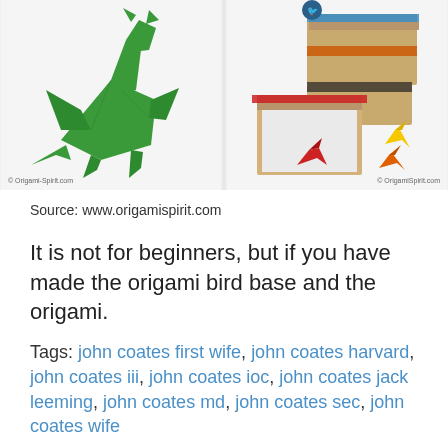[Figure (photo): Two photos side by side: left shows a green paper origami dragon/bird on white background with watermark '© Origami-Spirit.com'; right shows small colorful origami dragons/birds in and around kraft paper gift boxes with patterned ribbon, also with watermark '© OrigamiSpirit.com']
Source: www.origamispirit.com
It is not for beginners, but if you have made the origami bird base and the origami.
Tags: john coates first wife, john coates harvard, john coates iii, john coates ioc, john coates jack leeming, john coates md, john coates sec, john coates wife